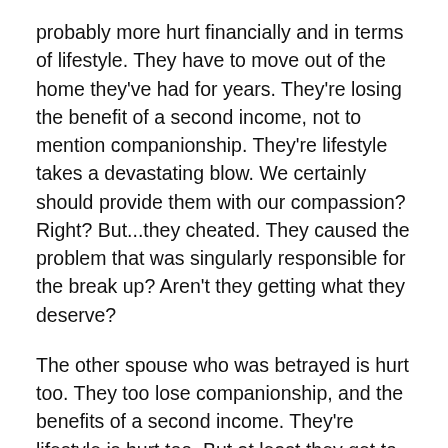probably more hurt financially and in terms of lifestyle. They have to move out of the home they've had for years. They're losing the benefit of a second income, not to mention companionship. They're lifestyle takes a devastating blow. We certainly should provide them with our compassion? Right? But...they cheated. They caused the problem that was singularly responsible for the break up? Aren't they getting what they deserve?
The other spouse who was betrayed is hurt too. They too lose companionship, and the benefits of a second income. They're lifestyle is hurt too. But at least they get to keep the house in which they've lived for so long. At least they don't have to move. But they've been betrayed. They may never trust again because the person to whom they gave all of their trust betrayed them. Certainly, we can provide them with compassion, right?